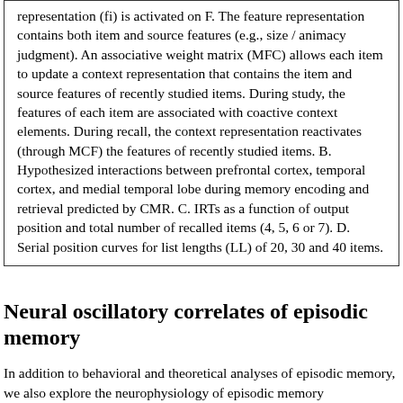representation (fi) is activated on F. The feature representation contains both item and source features (e.g., size / animacy judgment). An associative weight matrix (MFC) allows each item to update a context representation that contains the item and source features of recently studied items. During study, the features of each item are associated with coactive context elements. During recall, the context representation reactivates (through MCF) the features of recently studied items. B. Hypothesized interactions between prefrontal cortex, temporal cortex, and medial temporal lobe during memory encoding and retrieval predicted by CMR. C. IRTs as a function of output position and total number of recalled items (4, 5, 6 or 7). D. Serial position curves for list lengths (LL) of 20, 30 and 40 items.
Neural oscillatory correlates of episodic memory
In addition to behavioral and theoretical analyses of episodic memory, we also explore the neurophysiology of episodic memory